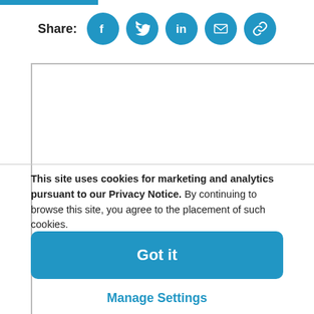[Figure (infographic): Blue horizontal bar at top left of page]
[Figure (infographic): Share row with label 'Share:' and five circular blue social media icons: Facebook, Twitter, LinkedIn, Email, Link]
[Figure (other): Large white content box with gray border, partially visible]
This site uses cookies for marketing and analytics pursuant to our Privacy Notice. By continuing to browse this site, you agree to the placement of such cookies.
[Figure (infographic): Blue rounded rectangle button with white bold text 'Got it']
Manage Settings